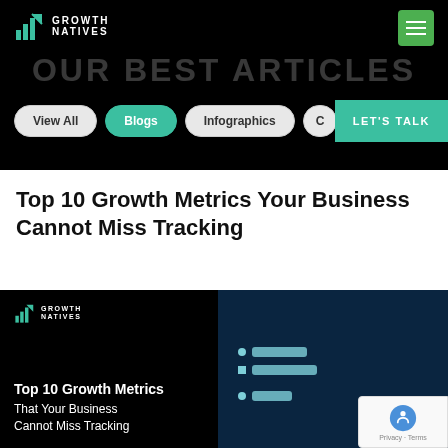Growth Natives
OUR BEST ARTICLES
View All | Blogs | Infographics | C... | LET'S TALK
Top 10 Growth Metrics Your Business Cannot Miss Tracking
[Figure (screenshot): Growth Natives branded article thumbnail image with dark background, logo in top-left, text 'Top 10 Growth Metrics That Your Business Cannot Miss Tracking' at bottom left, and dark blue panel on right with teal UI bar graphics, plus reCAPTCHA badge overlay in bottom right corner.]